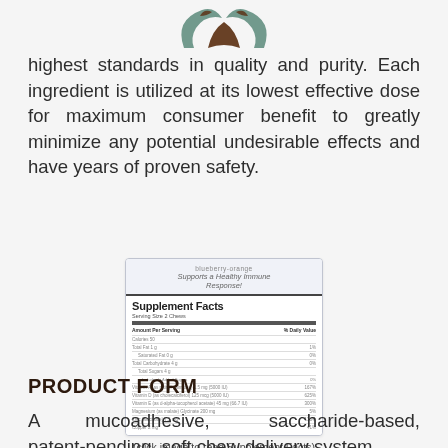[Figure (logo): Partial logo — two teal/brown wing-like shapes at top center]
highest standards in quality and purity. Each ingredient is utilized at its lowest effective dose for maximum consumer benefit to greatly minimize any potential undesirable effects and have years of proven safety.
[Figure (photo): Supplement Facts label for a blueberry-flavored chew product showing Supplement Facts panel with serving size 2 Chews, Amount Per Serving, % Daily Value, and various nutrient rows.]
(click image to read Supplement Facts)
PRODUCT FORM
A mucoadhesive, saccharide-based, patent-pending, soft chew delivery system